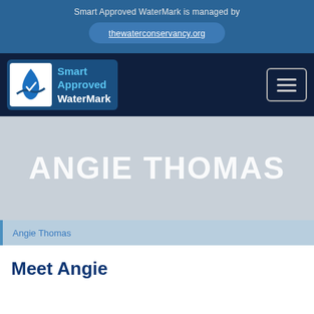Smart Approved WaterMark is managed by
thewaterconservancy.org
[Figure (logo): Smart Approved WaterMark logo with water drop icon and text]
ANGIE THOMAS
Angie Thomas
Meet Angie